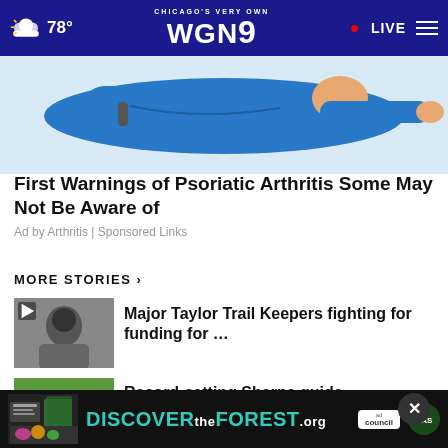78° CHICAGO'S VERY OWN WGN9 LIVE
[Figure (illustration): Partial illustration of a person in a blue outfit lying down, cropped at the top of the page]
First Warnings of Psoriatic Arthritis Some May Not Be Aware of
Ad by Arthritis | Sponsored Links
MORE STORIES ›
[Figure (photo): Black and white thumbnail photo of a person with a play icon overlay]
Major Taylor Trail Keepers fighting for funding for …
[Figure (photo): Thumbnail photo of a person's face outdoors]
Record-setting Sherpa guide contemplates retirement
[Figure (other): Bottom banner advertisement: DISCOVERtheFOREST.org with Ad Council and US Forest Service logos]